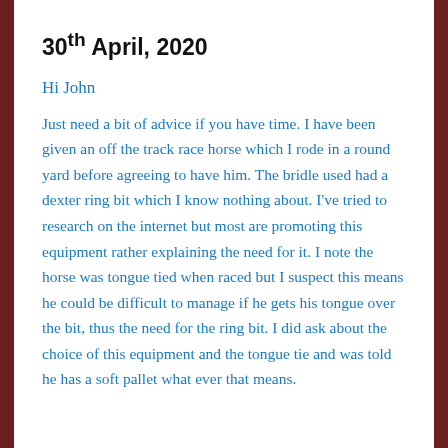30th April, 2020
Hi John
Just need a bit of advice if you have time. I have been given an off the track race horse which I rode in a round yard before agreeing to have him. The bridle used had a dexter ring bit which I know nothing about. I've tried to research on the internet but most are promoting this equipment rather explaining the need for it. I note the horse was tongue tied when raced but I suspect this means he could be difficult to manage if he gets his tongue over the bit, thus the need for the ring bit. I did ask about the choice of this equipment and the tongue tie and was told he has a soft pallet what ever that means.